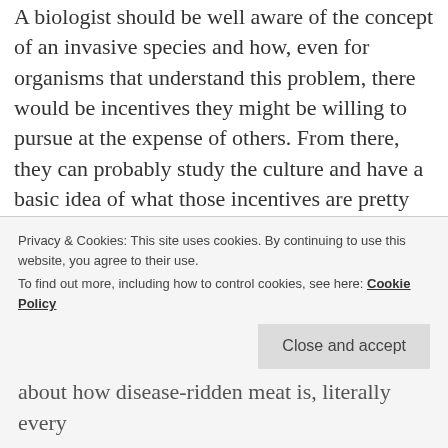A biologist should be well aware of the concept of an invasive species and how, even for organisms that understand this problem, there would be incentives they might be willing to pursue at the expense of others. From there, they can probably study the culture and have a basic idea of what those incentives are pretty quickly.
“A most bizarre, contrary creature willing to risk cancers, hormonal disruptions and diseases of the gut”
Privacy & Cookies: This site uses cookies. By continuing to use this website, you agree to their use.
To find out more, including how to control cookies, see here: Cookie Policy
about how disease-ridden meat is, literally every